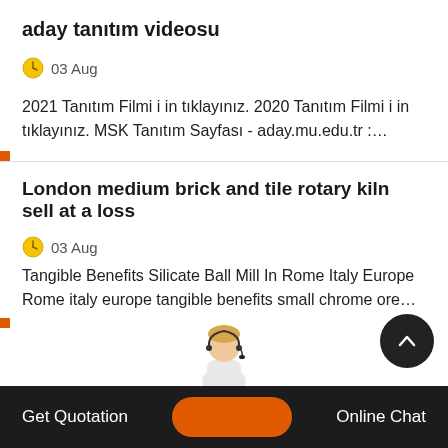aday tanıtım videosu
03 Aug
2021 Tanıtım Filmi i in tıklayınız. 2020 Tanıtım Filmi i in tıklayınız. MSK Tanıtım Sayfası - aday.mu.edu.tr :…
London medium brick and tile rotary kiln sell at a loss
03 Aug
Tangible Benefits Silicate Ball Mill In Rome Italy Europe Rome italy europe tangible benefits small chrome ore…
Get Quotation   Online Chat